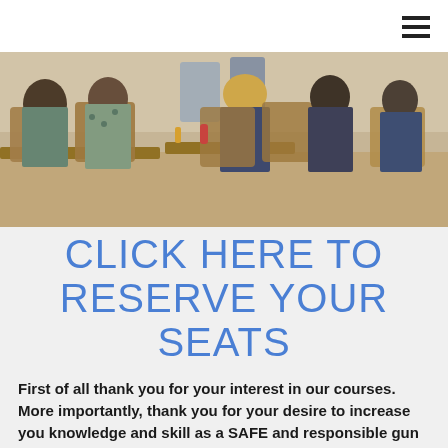[Figure (photo): A restaurant or café scene showing several people seated at wooden tables, viewed from behind. People are sitting in wooden chairs eating. The setting appears to be a casual dining establishment with wood tones and warm lighting.]
CLICK HERE TO RESERVE YOUR SEATS
First of all thank you for your interest in our courses. More importantly, thank you for your desire to increase you knowledge and skill as a SAFE and responsible gun